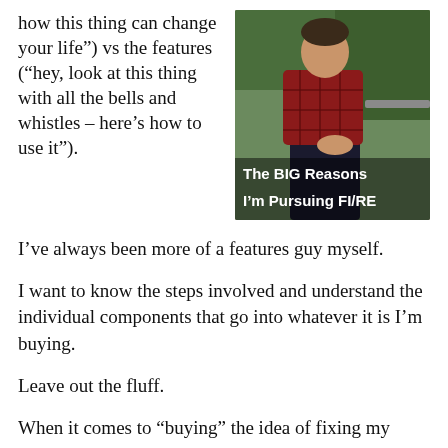how this thing can change your life”) vs the features (“hey, look at this thing with all the bells and whistles – here’s how to use it”).
[Figure (photo): A man in a red plaid shirt sitting outdoors at a table, with overlaid text reading 'The BIG Reasons I’m Pursuing FI/RE']
I’ve always been more of a features guy myself.
I want to know the steps involved and understand the individual components that go into whatever it is I’m buying.
Leave out the fluff.
When it comes to “buying” the idea of fixing my